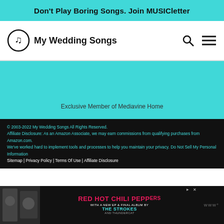Don't Play Boring Songs. Join MUSICletter
[Figure (logo): My Wedding Songs logo with musical note icon and text]
Exclusive Member of Mediavine Home
© 2003-2022 My Wedding Songs All Rights Reserved.
Affiliate Disclosure: As an Amazon Associate, we may earn commissions from qualifying purchases from Amazon.com.
We've worked hard to implement tools and processes to help you maintain your privacy. Do Not Sell My Personal Information
Sitemap | Privacy Policy | Terms Of Use | Affiliate Disclosure
[Figure (screenshot): Advertisement banner for Red Hot Chili Peppers, The Strokes and Thundercat]